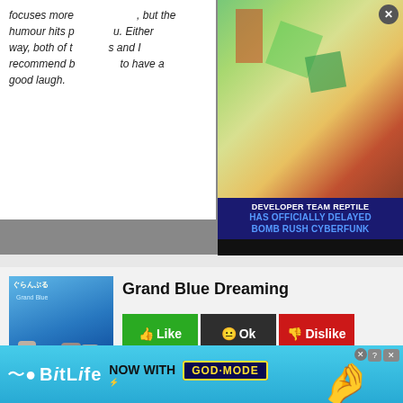focuses more ... but the humour hits ... Either way, both of ... s and I recommend ... to have a good laugh.
[Figure (screenshot): Advertisement overlay showing a game screenshot with text: DEVELOPER TEAM REPTILE HAS OFFICIALLY DELAYED BOMB RUSH CYBERFUNK]
Grand Blue Dreaming
[Figure (illustration): Cover art for Grand Blue Dreaming manga/anime with characters on a blue ocean background. Rating: 84.00/100]
Like 57 | Ok 4 | Dislike 4
Iori Kitahara moves to the coastal town of Izu for his freshman year at its university, taking residence above Grand Blue, his uncle's scuba diving shop. Iori has high hopes and dreams
[Figure (screenshot): BitLife advertisement banner: NOW WITH GOD MODE]